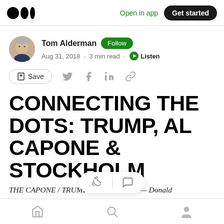Open in app | Get started
Tom Alderman  Follow
Aug 31, 2018 · 3 min read · Listen
Save (social share icons)
CONNECTING THE DOTS: TRUMP, AL CAPONE & STOCKHOLM
THE CAPONE / TRUMP CONNECTION — Donald
Home | Search | Profile (bottom nav)